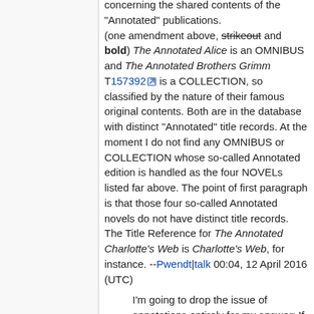concerning the shared contents of the "Annotated" publications. (one amendment above, strikeout and bold) The Annotated Alice is an OMNIBUS and The Annotated Brothers Grimm T157392 is a COLLECTION, so classified by the nature of their famous original contents. Both are in the database with distinct "Annotated" title records. At the moment I do not find any OMNIBUS or COLLECTION whose so-called Annotated edition is handled as the four NOVELs listed far above. The point of first paragraph is that those four so-called Annotated novels do not have distinct title records. The Title Reference for The Annotated Charlotte's Web is Charlotte's Web, for instance. --Pwendt|talk 00:04, 12 April 2016 (UTC)
I'm going to drop the issue of annotations entirely for my answer: If a work is published